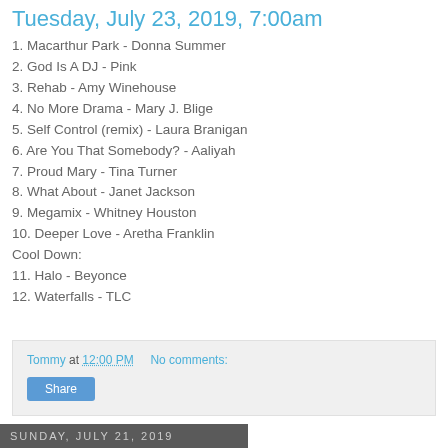Tuesday, July 23, 2019, 7:00am
1. Macarthur Park - Donna Summer
2. God Is A DJ - Pink
3. Rehab - Amy Winehouse
4. No More Drama - Mary J. Blige
5. Self Control (remix) - Laura Branigan
6. Are You That Somebody? - Aaliyah
7. Proud Mary - Tina Turner
8. What About - Janet Jackson
9. Megamix - Whitney Houston
10. Deeper Love - Aretha Franklin
Cool Down:
11. Halo - Beyonce
12. Waterfalls - TLC
Tommy at 12:00 PM    No comments:
Sunday, July 21, 2019